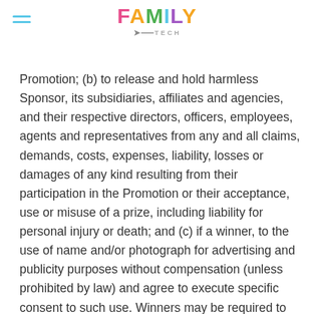FAMILY TECH
Promotion; (b) to release and hold harmless Sponsor, its subsidiaries, affiliates and agencies, and their respective directors, officers, employees, agents and representatives from any and all claims, demands, costs, expenses, liability, losses or damages of any kind resulting from their participation in the Promotion or their acceptance, use or misuse of a prize, including liability for personal injury or death; and (c) if a winner, to the use of name and/or photograph for advertising and publicity purposes without compensation (unless prohibited by law) and agree to execute specific consent to such use. Winners may be required to complete an